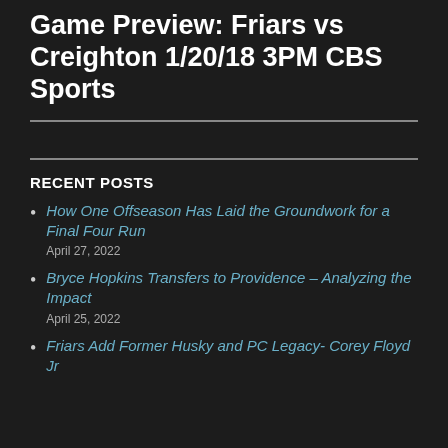Game Preview: Friars vs Creighton 1/20/18 3PM CBS Sports
RECENT POSTS
How One Offseason Has Laid the Groundwork for a Final Four Run
April 27, 2022
Bryce Hopkins Transfers to Providence – Analyzing the Impact
April 25, 2022
Friars Add Former Husky and PC Legacy- Corey Floyd Jr